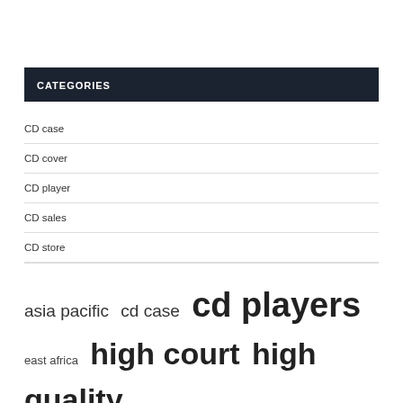CATEGORIES
CD case
CD cover
CD player
CD sales
CD store
asia pacific  cd case  cd players  east africa  high court  high quality  investigation team  market report  market share